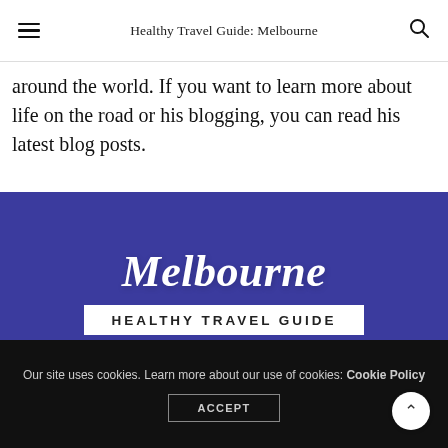Healthy Travel Guide: Melbourne
around the world. If you want to learn more about life on the road or his blogging, you can read his latest blog posts.
[Figure (illustration): Melbourne Healthy Travel Guide promotional image with script text 'Melbourne' and bold subtitle 'HEALTHY TRAVEL GUIDE' on a purple/blue background with city skyline silhouette at bottom.]
Our site uses cookies. Learn more about our use of cookies: Cookie Policy ACCEPT